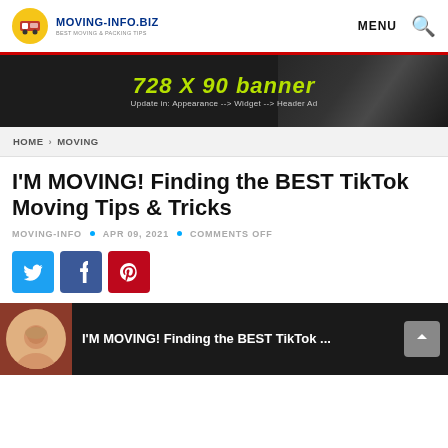MOVING-INFO.BIZ — BEST MOVING & PACKING TIPS | MENU
[Figure (infographic): 728 X 90 banner ad placeholder with dark background and yellow-green text reading '728 X 90 banner' and subtitle 'Update in: Appearance --> Widget --> Header Ad']
HOME › MOVING
I'M MOVING! Finding the BEST TikTok Moving Tips & Tricks
MOVING-INFO • APR 09, 2021 • COMMENTS OFF
[Figure (infographic): Social sharing buttons: Twitter (blue), Facebook (dark blue), Pinterest (red)]
[Figure (screenshot): Video player bar with thumbnail of a person and text: I'M MOVING! Finding the BEST TikTok ...]